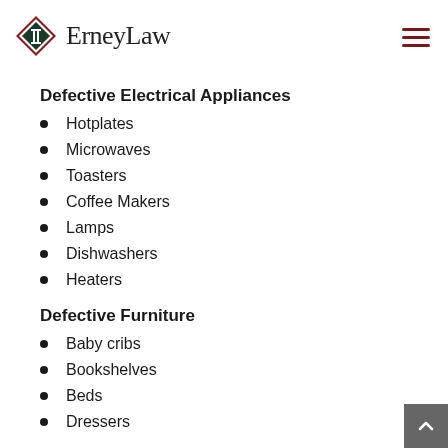ErneyLaw
Defective Electrical Appliances
Hotplates
Microwaves
Toasters
Coffee Makers
Lamps
Dishwashers
Heaters
Defective Furniture
Baby cribs
Bookshelves
Beds
Dressers